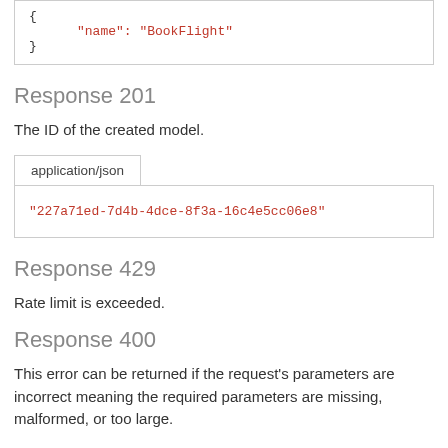[Figure (screenshot): Code block showing JSON with brace and 'name': 'BookFlight' string]
Response 201
The ID of the created model.
[Figure (screenshot): Tab panel showing application/json tab with code value '227a71ed-7d4b-4dce-8f3a-16c4e5cc06e8']
Response 429
Rate limit is exceeded.
Response 400
This error can be returned if the request's parameters are incorrect meaning the required parameters are missing, malformed, or too large.